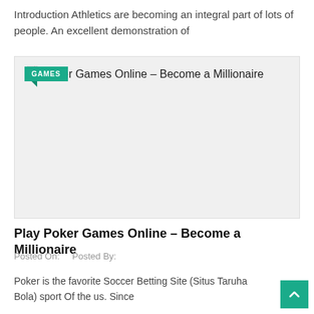Introduction Athletics are becoming an integral part of lots of people. An excellent demonstration of
[Figure (screenshot): Card with GAMES tag badge and title 'Play Poker Games Online – Become a Millionaire' on a light grey background with a small file icon]
Play Poker Games Online – Become a Millionaire
Posted On:    Posted By:
Poker is the favorite Soccer Betting Site (Situs Taruhan Bola) sport Of the us. Since